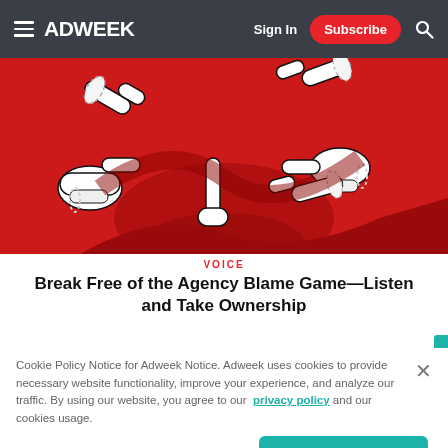ADWEEK — Sign In | Subscribe
[Figure (illustration): Illustrated red background with multiple cartoon hands pointing fingers at each other from all directions, with pearl bracelets on some wrists.]
VOICE
Break Free of the Agency Blame Game—Listen and Take Ownership
Cookie Policy Notice for Adweek Notice. Adweek uses cookies to provide necessary website functionality, improve your experience, and analyze our traffic. By using our website, you agree to our privacy policy and our cookies usage.
Cookies Settings | Accept All Cookies